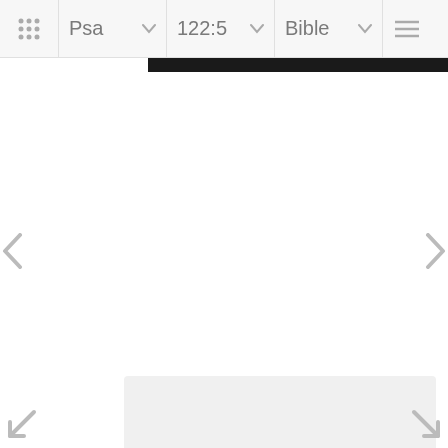Psa  122:5  Bible
[Figure (screenshot): Bible app screenshot showing navigation bar with Psa, 122:5, Bible dropdowns, grid icon and menu icon. Below is a mostly white content area with a black image strip at top, left and right navigation arrows, a close button, and a light gray bottom panel.]